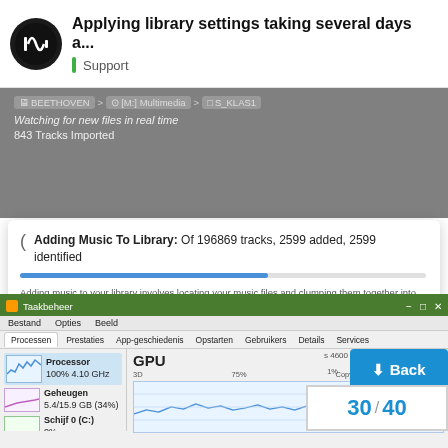Applying library settings taking several days a... | Support
[Figure (screenshot): Roon software screenshot showing 'Adding Music To Library' dialog with progress bar, breadcrumb navigation BEETHOVEN > [M:] Multimedia > 1_KLAS, Scanning now... 2346 Tracks Imported, 258840 Files Scanned]
[Figure (screenshot): Windows Task Manager screenshot showing Processor 100% 4.10 GHz, Geheugen 5.4/15.9 GB (34%), Schijf 0 (C:) 0%, GPU chart with 3D and Copy views, with Back button overlay and page number 30/40]